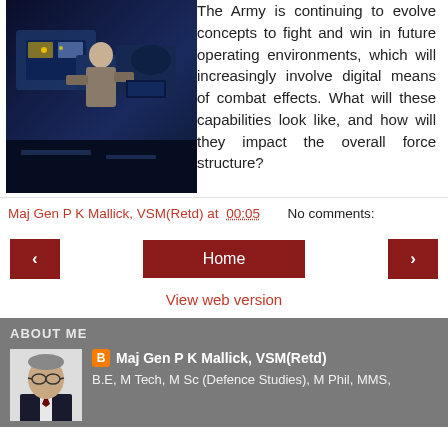[Figure (photo): Military personnel working at a digital/electronic equipment station, blue-tinted night scene]
The Army is continuing to evolve concepts to fight and win in future operating environments, which will increasingly involve digital means of combat effects. What will these capabilities look like, and how will they impact the overall force structure?
Maj Gen P K Mallick, VSM(Retd) at 00:05    No comments:
[Figure (screenshot): Navigation buttons: left arrow, Home, right arrow]
View web version
ABOUT ME
[Figure (photo): Portrait photo of Maj Gen P K Mallick, VSM(Retd) - older man in suit with glasses]
Maj Gen P K Mallick, VSM(Retd)
B.E, M Tech, M Sc (Defence Studies), M Phil, MMS,